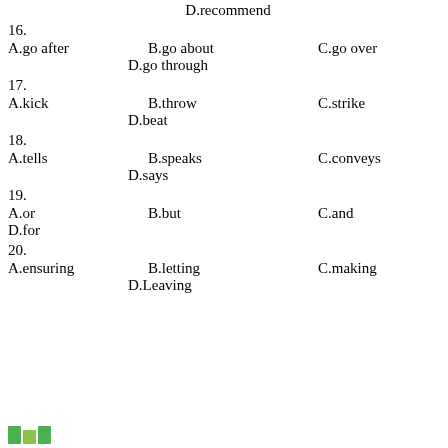D.recommend
16.
A.go after    B.go about    C.go over    D.go through
17.
A.kick    B.throw    C.strike    D.beat
18.
A.tells    B.speaks    C.conveys    D.says
19.
A.or    B.but    C.and    D.for
20.
A.ensuring    B.letting    C.making    D.Leaving